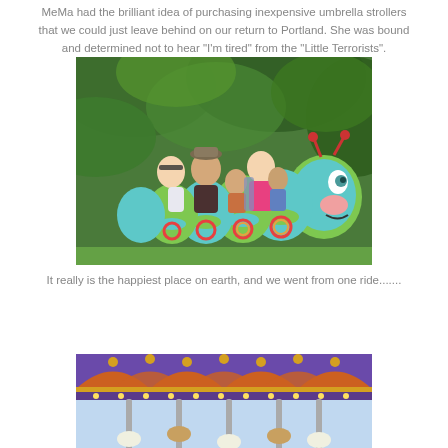MeMa had the brilliant idea of purchasing inexpensive umbrella strollers that we could just leave behind on our return to Portland. She was bound and determined not to hear "I'm tired" from the "Little Terrorists".
[Figure (photo): Family riding a colorful caterpillar-themed train ride at Disneyland, surrounded by tropical foliage. The ride car is teal and green, shaped like a caterpillar with a smiling face at the front.]
It really is the happiest place on earth, and we went from one ride.......
[Figure (photo): Close-up of a colorful carousel at Disneyland, showing ornate decorations, lights, and horses under a decorated canopy.]